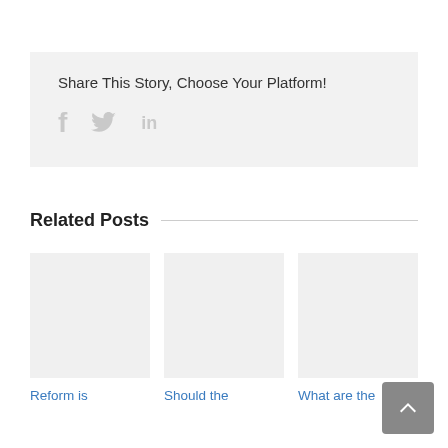Share This Story, Choose Your Platform!
[Figure (infographic): Social sharing icons: Facebook (f), Twitter (bird), LinkedIn (in) in light gray]
Related Posts
[Figure (photo): Light gray placeholder image for related post 1]
Reform is
[Figure (photo): Light gray placeholder image for related post 2]
Should the
[Figure (photo): Light gray placeholder image for related post 3]
What are the